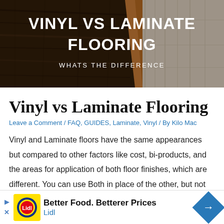[Figure (photo): Hero banner photo showing dark wood flooring on the left and light laminate flooring on the right with a visible dividing edge, overlaid with bold white text 'VINYL VS LAMINATE FLOORING' and subtitle 'WHATS THE DIFFERENCE']
Vinyl vs Laminate Flooring
Leave a Comment / FAQ, GUIDES, Laminate, Vinyl / By Kilo Mac
Vinyl and Laminate floors have the same appearances but compared to other factors like cost, bi-products, and the areas for application of both floor finishes, which are different. You can use Both in place of the other, but not always. Is Vinyl the Same